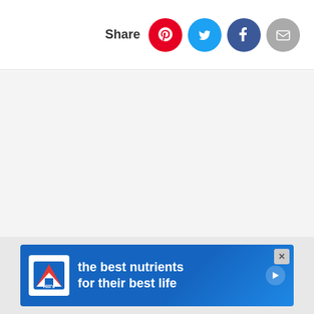Share
[Figure (screenshot): Large empty light gray content area (image placeholder or blank article body)]
[Figure (infographic): Hill's Pet Nutrition advertisement banner: white logo box with Hill's logo on blue gradient background, text 'the best nutrients for their best life', play button, and close X button]